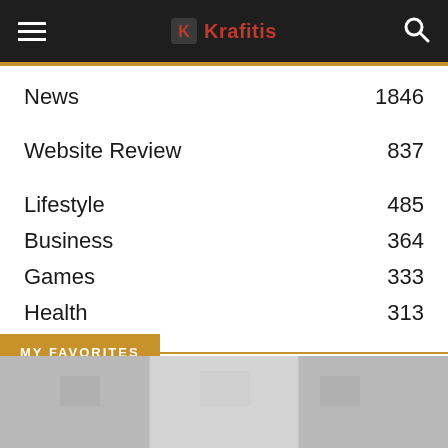Krafitis
News 1846
Website Review 837
Lifestyle 485
Business 364
Games 333
Health 313
MY FAVORITES
[Figure (photo): Grayscale placeholder image below MY FAVORITES section header]